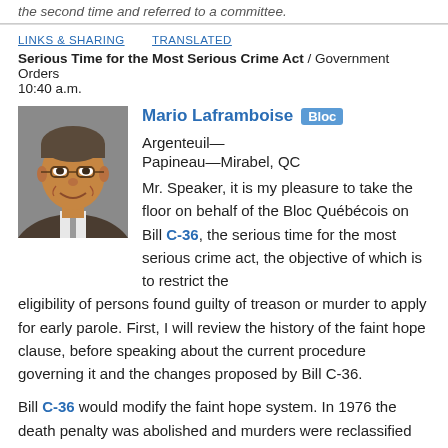the second time and referred to a committee.
LINKS & SHARING    TRANSLATED
Serious Time for the Most Serious Crime Act / Government Orders
10:40 a.m.
[Figure (photo): Headshot photo of Mario Laframboise, a middle-aged man with glasses, smiling, wearing a suit.]
Mario Laframboise  Bloc  Argenteuil—Papineau—Mirabel, QC
Mr. Speaker, it is my pleasure to take the floor on behalf of the Bloc Québécois on Bill C-36, the serious time for the most serious crime act, the objective of which is to restrict the eligibility of persons found guilty of treason or murder to apply for early parole. First, I will review the history of the faint hope clause, before speaking about the current procedure governing it and the changes proposed by Bill C-36.
Bill C-36 would modify the faint hope system. In 1976 the death penalty was abolished and murders were reclassified as first or second degree murder. Both are punishable by life in prison,
read more ↓